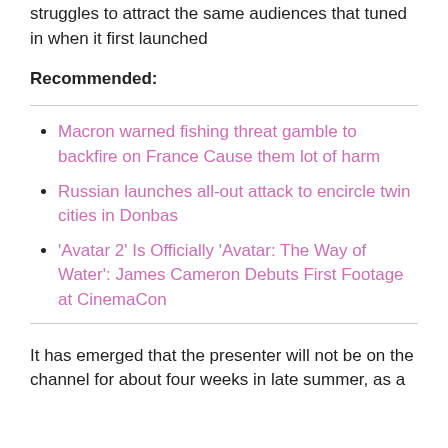struggles to attract the same audiences that tuned in when it first launched
Recommended:
Macron warned fishing threat gamble to backfire on France Cause them lot of harm
Russian launches all-out attack to encircle twin cities in Donbas
'Avatar 2' Is Officially 'Avatar: The Way of Water': James Cameron Debuts First Footage at CinemaCon
It has emerged that the presenter will not be on the channel for about four weeks in late summer, as a